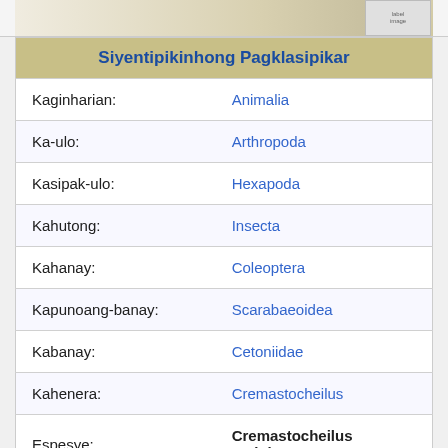[Figure (photo): Partial top image of an insect (beetle), cropped at the top of the page]
| Siyentipikinhong Pagklasipikar |  |
| --- | --- |
| Kaginharian: | Animalia |
| Ka-ulo: | Arthropoda |
| Kasipak-ulo: | Hexapoda |
| Kahutong: | Insecta |
| Kahanay: | Coleoptera |
| Kapunoang-banay: | Scarabaeoidea |
| Kabanay: | Cetoniidae |
| Kahenera: | Cremastocheilus |
| Espesye: | Cremastocheilus variolosus |